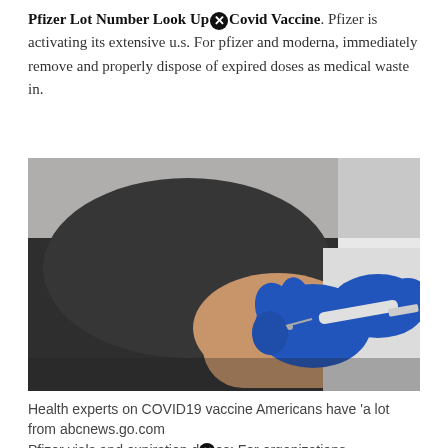Pfizer Lot Number Look Up Covid Vaccine. Pfizer is activating its extensive u.s. For pfizer and moderna, immediately remove and properly dispose of expired doses as medical waste in.
[Figure (photo): A healthcare worker wearing blue gloves injects a vaccine into the upper arm of a patient wearing a dark grey t-shirt. The background is light grey.]
Health experts on COVID19 vaccine Americans have 'a lot from abcnews.go.com
Pfizer vials and expiration d[x]es; For organizations